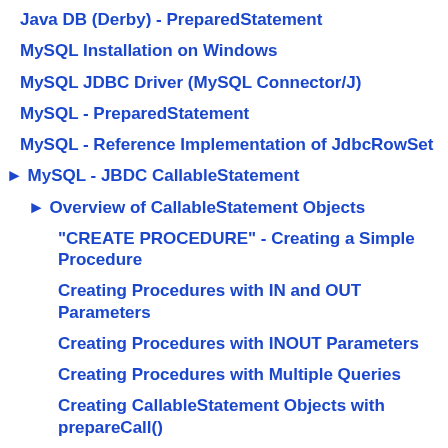Java DB (Derby) - PreparedStatement
MySQL Installation on Windows
MySQL JDBC Driver (MySQL Connector/J)
MySQL - PreparedStatement
MySQL - Reference Implementation of JdbcRowSet
► MySQL - JBDC CallableStatement
► Overview of CallableStatement Objects
"CREATE PROCEDURE" - Creating a Simple Procedure
Creating Procedures with IN and OUT Parameters
Creating Procedures with INOUT Parameters
Creating Procedures with Multiple Queries
Creating CallableStatement Objects with prepareCall()
Capturing ResultSet with executeQuery()